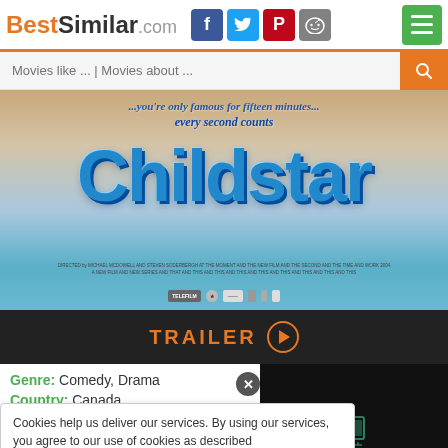BestSimilar.com
Movies like ... | Movies about ...
[Figure (photo): Childstar movie poster showing the title 'Childstar' in large blue letters with tagline 'every second counts']
TRAILER ▶
Genre: Comedy, Drama
Country: Canada
Cookies help us deliver our services. By using our services, you agree to our use of cookies as described
young age. HIS RELATIONSHIP WITH